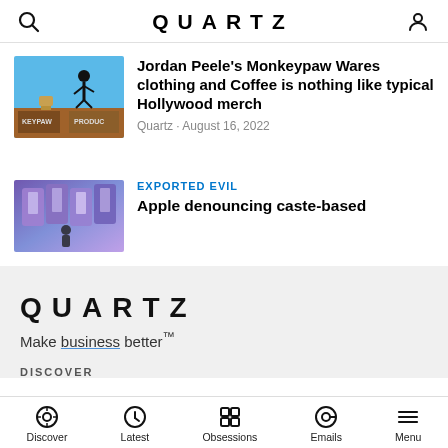QUARTZ
[Figure (screenshot): Thumbnail image for Jordan Peele Monkeypaw article with blue background and silhouette]
Jordan Peele's Monkeypaw Wares clothing and Coffee is nothing like typical Hollywood merch
Quartz · August 16, 2022
[Figure (screenshot): Thumbnail image showing iPhones in purple colors]
EXPORTED EVIL
Apple denouncing caste-based
[Figure (logo): Quartz logo large]
Make business better™
DISCOVER
Discover  Latest  Obsessions  Emails  Menu